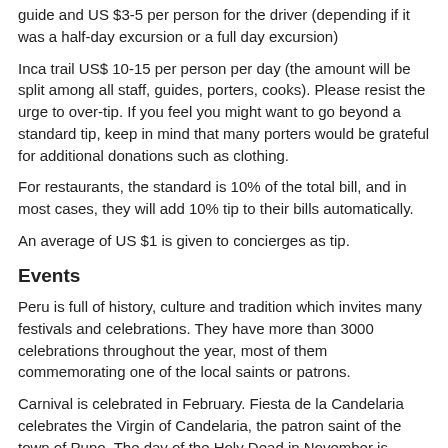guide and US $3-5 per person for the driver (depending if it was a half-day excursion or a full day excursion)
Inca trail US$ 10-15 per person per day (the amount will be split among all staff, guides, porters, cooks). Please resist the urge to over-tip. If you feel you might want to go beyond a standard tip, keep in mind that many porters would be grateful for additional donations such as clothing.
For restaurants, the standard is 10% of the total bill, and in most cases, they will add 10% tip to their bills automatically.
An average of US $1 is given to concierges as tip.
Events
Peru is full of history, culture and tradition which invites many festivals and celebrations. They have more than 3000 celebrations throughout the year, most of them commemorating one of the local saints or patrons.
Carnival is celebrated in February. Fiesta de la Candelaria celebrates the Virgin of Candelaria, the patron saint of the town of Puno. The day of the Holy Dead in November is important locally. However, Inti Raymi is probably one of the most popular festivals among the Andean communities, and is celebrated in June (the